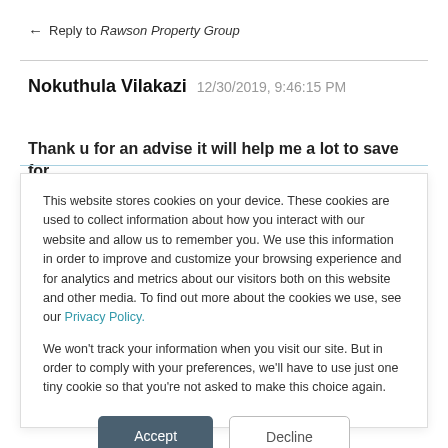← Reply to Rawson Property Group
Nokuthula Vilakazi 12/30/2019, 9:46:15 PM
Thank u for an advise it will help me a lot to save for
This website stores cookies on your device. These cookies are used to collect information about how you interact with our website and allow us to remember you. We use this information in order to improve and customize your browsing experience and for analytics and metrics about our visitors both on this website and other media. To find out more about the cookies we use, see our Privacy Policy.
We won't track your information when you visit our site. But in order to comply with your preferences, we'll have to use just one tiny cookie so that you're not asked to make this choice again.
Accept
Decline